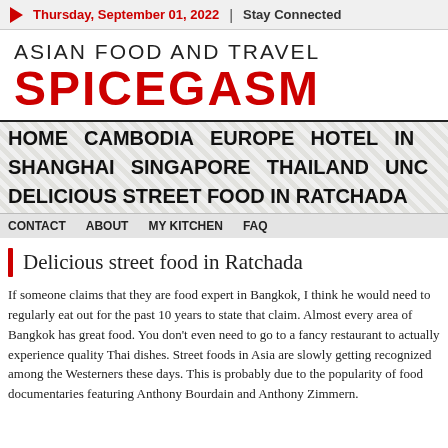Thursday, September 01, 2022 | Stay Connected
ASIAN FOOD AND TRAVEL SPICEGASM
HOME   CAMBODIA   EUROPE   HOTEL   IN...   SHANGHAI   SINGAPORE   THAILAND   UNC...   DELICIOUS STREET FOOD IN RATCHADA
CONTACT   ABOUT   MY KITCHEN   FAQ
Delicious street food in Ratchada
If someone claims that they are food expert in Bangkok, I think he would need to regularly eat out for the past 10 years to state that claim. Almost every area of Bangkok has great food. You don’t even need to go to a fancy restaurant to actually experience quality Thai dishes. Street foods in Asia are slowly getting recognized among the Westerners these days. This is probably due to the popularity of food documentaries featuring Anthony Bourdain and Anthony Zimmern.